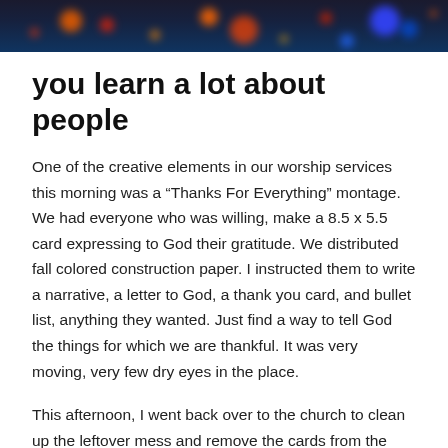[Figure (photo): Dark bokeh background header image with colorful blurred lights (orange, red, blue) against a dark navy background]
you learn a lot about people
One of the creative elements in our worship services this morning was a “Thanks For Everything” montage. We had everyone who was willing, make a 8.5 x 5.5 card expressing to God their gratitude. We distributed fall colored construction paper. I instructed them to write a narrative, a letter to God, a thank you card, and bullet list, anything they wanted. Just find a way to tell God the things for which we are thankful. It was very moving, very few dry eyes in the place.
This afternoon, I went back over to the church to clean up the leftover mess and remove the cards from the display boards. We did this exercise at all three of our services, so